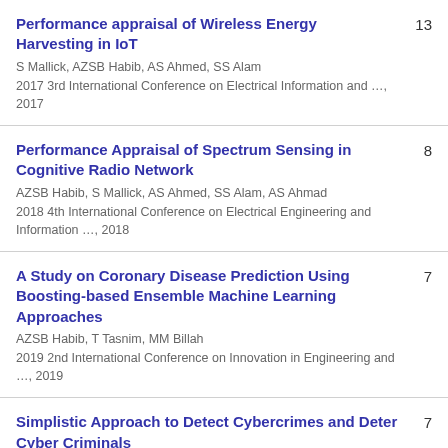Performance appraisal of Wireless Energy Harvesting in IoT | S Mallick, AZSB Habib, AS Ahmed, SS Alam | 2017 3rd International Conference on Electrical Information and …, 2017 | 13
Performance Appraisal of Spectrum Sensing in Cognitive Radio Network | AZSB Habib, S Mallick, AS Ahmed, SS Alam, AS Ahmad | 2018 4th International Conference on Electrical Engineering and Information …, 2018 | 8
A Study on Coronary Disease Prediction Using Boosting-based Ensemble Machine Learning Approaches | AZSB Habib, T Tasnim, MM Billah | 2019 2nd International Conference on Innovation in Engineering and …, 2019 | 7
Simplistic Approach to Detect Cybercrimes and Deter Cyber Criminals | AS Ahmed, S Deb, AZSB Habib, MN Mollah, AS Ahmad | 2018 International Conference on Computer, Communication, Chemical, Material …, 2018 | 7